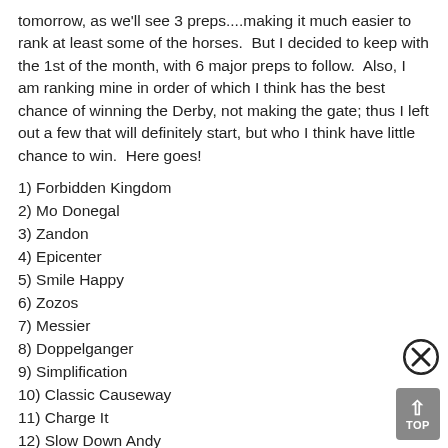tomorrow, as we'll see 3 preps....making it much easier to rank at least some of the horses. But I decided to keep with the 1st of the month, with 6 major preps to follow. Also, I am ranking mine in order of which I think has the best chance of winning the Derby, not making the gate; thus I left out a few that will definitely start, but who I think have little chance to win. Here goes!
1) Forbidden Kingdom
2) Mo Donegal
3) Zandon
4) Epicenter
5) Smile Happy
6) Zozos
7) Messier
8) Doppelganger
9) Simplification
10) Classic Causeway
11) Charge It
12) Slow Down Andy
13) In Due Time
14) Volcanic
15) Mclaren Vale